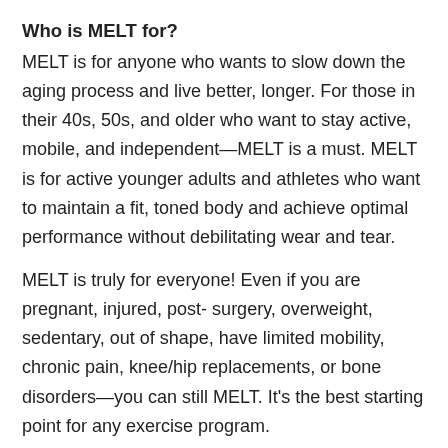Who is MELT for?
MELT is for anyone who wants to slow down the aging process and live better, longer. For those in their 40s, 50s, and older who want to stay active, mobile, and independent—MELT is a must. MELT is for active younger adults and athletes who want to maintain a fit, toned body and achieve optimal performance without debilitating wear and tear.
MELT is truly for everyone! Even if you are pregnant, injured, post- surgery, overweight, sedentary, out of shape, have limited mobility, chronic pain, knee/hip replacements, or bone disorders—you can still MELT. It's the best starting point for any exercise program.
Is MELT like yoga, Feldenkrais®, Pilates®, or physical therapy?